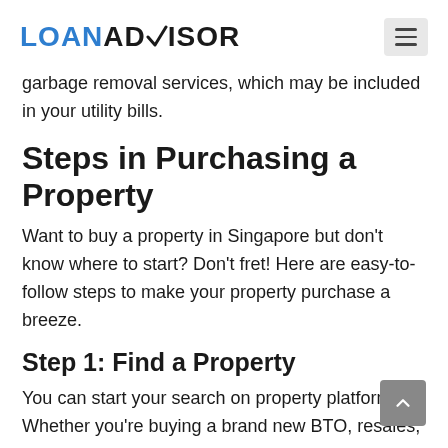LOANADVISOR
garbage removal services, which may be included in your utility bills.
Steps in Purchasing a Property
Want to buy a property in Singapore but don't know where to start? Don't fret! Here are easy-to-follow steps to make your property purchase a breeze.
Step 1: Find a Property
You can start your search on property platforms. Whether you're buying a brand new BTO, resales,